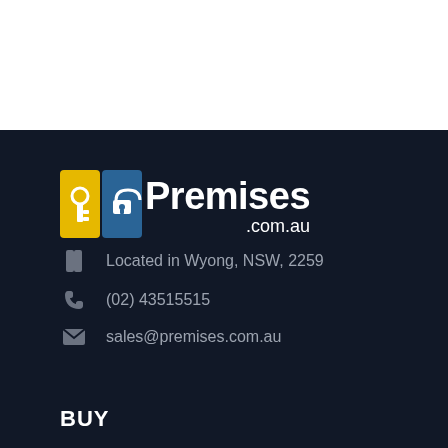[Figure (logo): Premises.com.au logo with key icons on yellow and blue background tiles]
Located in Wyong, NSW, 2259
(02) 43515515
sales@premises.com.au
BUY